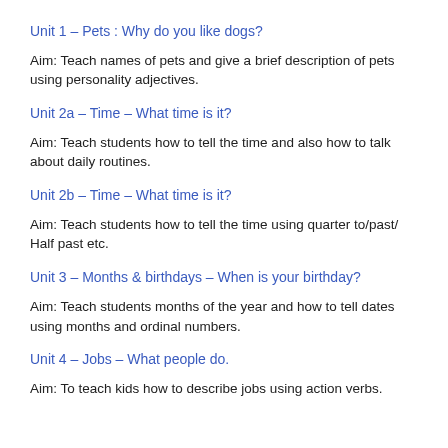Unit  1 – Pets : Why do you like dogs?
Aim: Teach  names of pets and give a brief description of pets using personality adjectives.
Unit   2a – Time – What time is it?
Aim: Teach students how to tell the time and also how to talk about daily routines.
Unit   2b – Time – What time is it?
Aim: Teach students how to tell the time using quarter to/past/ Half past etc.
Unit   3 – Months & birthdays – When is your birthday?
Aim: Teach students months of the year and how to tell dates using months and ordinal numbers.
Unit   4 – Jobs – What people do.
Aim: To teach kids how to describe jobs using action verbs.